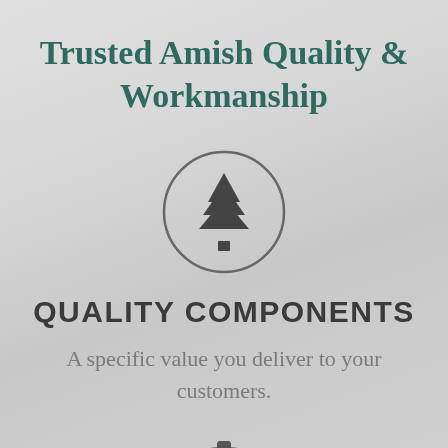Trusted Amish Quality & Workmanship
[Figure (illustration): A pine/evergreen tree icon inside a circle outline, dark grey color]
QUALITY COMPONENTS
A specific value you deliver to your customers.
[Figure (illustration): Partial circle icon at the bottom of the page, dark grey, cut off]